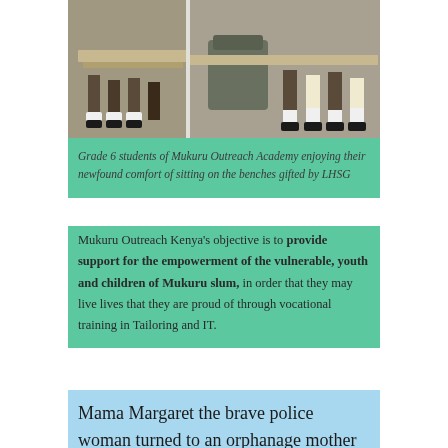[Figure (photo): Students seated at desks/benches in a classroom, showing their legs and feet, some wearing school uniforms with white socks]
Grade 6 students of Mukuru Outreach Academy enjoying their newfound comfort of sitting on the benches gifted by LHSG
Mukuru Outreach Kenya's objective is to provide support for the empowerment of the vulnerable, youth and children of Mukuru slum, in order that they may live lives that they are proud of through vocational training in Tailoring and IT.
Mama Margaret the brave police woman turned to an orphanage mother